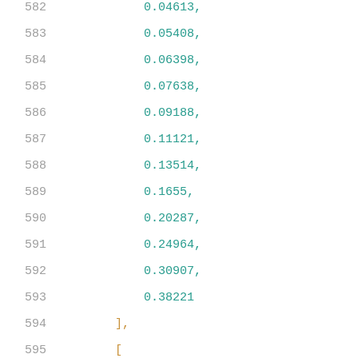582    0.04613,
583    0.05408,
584    0.06398,
585    0.07638,
586    0.09188,
587    0.11121,
588    0.13514,
589    0.1655,
590    0.20287,
591    0.24964,
592    0.30907,
593    0.38221
594    ],
595    [
596        0.014,
597        0.02717,
598        0.03048,
599        0.03457,
600        0.03972,
601        0.04611,
602        0.05408,
603        0.06401